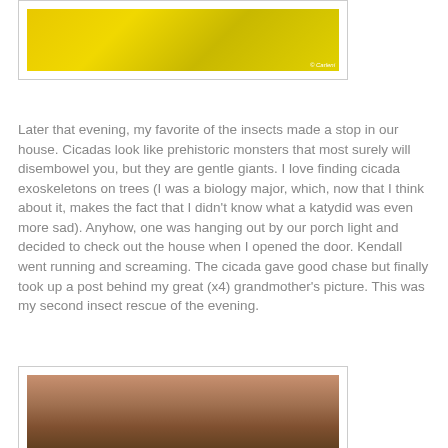[Figure (photo): Close-up photo of an insect (likely a katydid or similar) on yellow flowers, with a watermark 'R. Carleni' in bottom right corner]
Later that evening, my favorite of the insects made a stop in our house. Cicadas look like prehistoric monsters that most surely will disembowel you, but they are gentle giants. I love finding cicada exoskeletons on trees (I was a biology major, which, now that I think about it, makes the fact that I didn't know what a katydid was even more sad). Anyhow, one was hanging out by our porch light and decided to check out the house when I opened the door. Kendall went running and screaming. The cicada gave good chase but finally took up a post behind my great (x4) grandmother's picture. This was my second insect rescue of the evening.
[Figure (photo): Close-up photo of what appears to be a cicada or insect being held, blurred brown and tan tones]